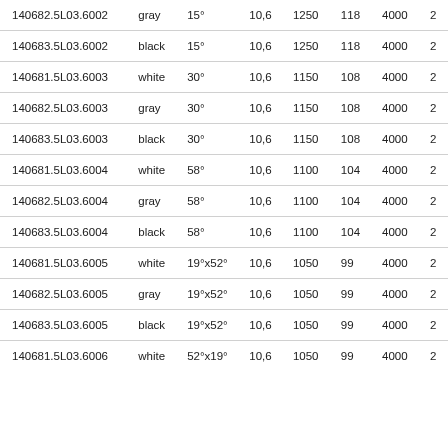| 140682.5L03.6002 | gray | 15° | 10,6 | 1250 | 118 | 4000 | 2 |
| 140683.5L03.6002 | black | 15° | 10,6 | 1250 | 118 | 4000 | 2 |
| 140681.5L03.6003 | white | 30° | 10,6 | 1150 | 108 | 4000 | 2 |
| 140682.5L03.6003 | gray | 30° | 10,6 | 1150 | 108 | 4000 | 2 |
| 140683.5L03.6003 | black | 30° | 10,6 | 1150 | 108 | 4000 | 2 |
| 140681.5L03.6004 | white | 58° | 10,6 | 1100 | 104 | 4000 | 2 |
| 140682.5L03.6004 | gray | 58° | 10,6 | 1100 | 104 | 4000 | 2 |
| 140683.5L03.6004 | black | 58° | 10,6 | 1100 | 104 | 4000 | 2 |
| 140681.5L03.6005 | white | 19°x52° | 10,6 | 1050 | 99 | 4000 | 2 |
| 140682.5L03.6005 | gray | 19°x52° | 10,6 | 1050 | 99 | 4000 | 2 |
| 140683.5L03.6005 | black | 19°x52° | 10,6 | 1050 | 99 | 4000 | 2 |
| 140681.5L03.6006 | white | 52°x19° | 10,6 | 1050 | 99 | 4000 | 2 |